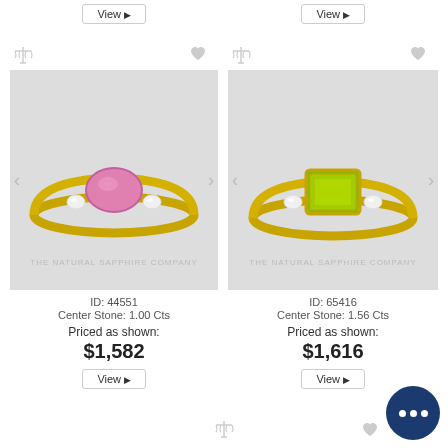[Figure (photo): Gold ring with pink oval center stone flanked by small diamonds, on light grey background, watermarked THE NATURAL SAPPHIRE COMPANY]
ID: 44551
Center Stone: 1.00 Cts
Priced as shown:
$1,582
[Figure (photo): Gold ring with green emerald-cut center stone flanked by small diamonds, on light grey background, watermarked THE NATURAL SAPPHIRE COMPANY]
ID: 65416
Center Stone: 1.56 Cts
Priced as shown:
$1,616